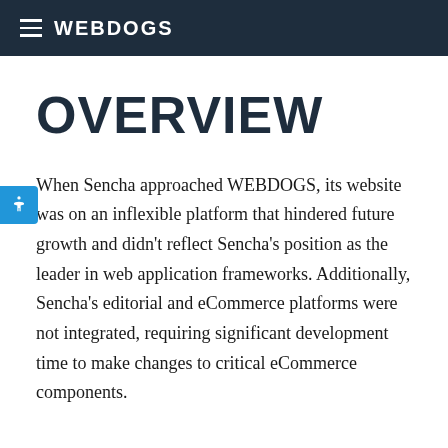WEBDOGS
OVERVIEW
When Sencha approached WEBDOGS, its website was on an inflexible platform that hindered future growth and didn't reflect Sencha's position as the leader in web application frameworks. Additionally, Sencha's editorial and eCommerce platforms were not integrated, requiring significant development time to make changes to critical eCommerce components.